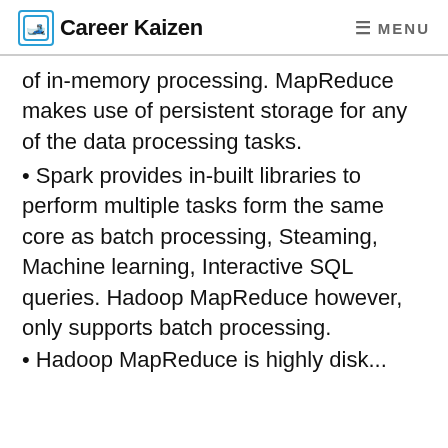Career Kaizen  MENU
of in-memory processing. MapReduce makes use of persistent storage for any of the data processing tasks.
Spark provides in-built libraries to perform multiple tasks form the same core as batch processing, Steaming, Machine learning, Interactive SQL queries. Hadoop MapReduce however, only supports batch processing.
Hadoop MapReduce is highly disk...